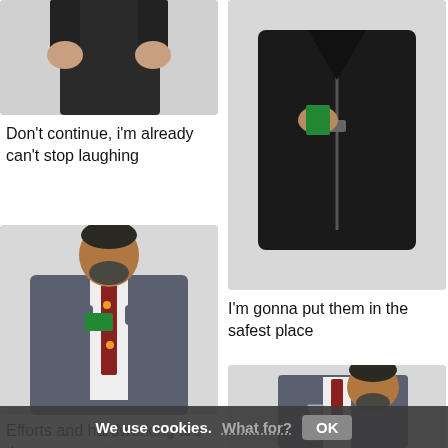[Figure (photo): Partial view of a man in a dark suit, lower body, white background]
[Figure (photo): Man in black leather jacket holding something inside jacket, white background]
Don't continue, i'm already can't stop laughing
[Figure (photo): Bearded man in grey blazer and floral tie hiding money in jacket pocket, smiling, white background]
I'm gonna put them in the safest place
[Figure (photo): Bearded man in grey blazer holding a champagne glass, white background]
Efforts and hardworking are the components
We use cookies. What for? OK